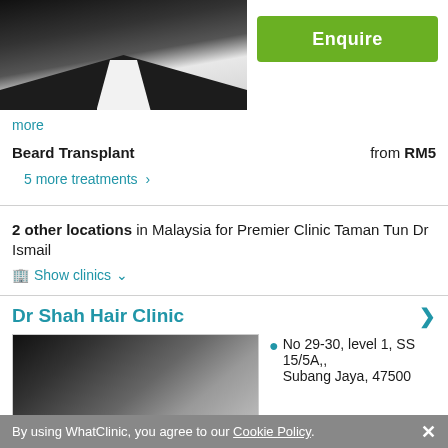[Figure (photo): Doctor in dark jacket and white shirt, headshot photo (upper portion visible)]
Enquire
more
Beard Transplant    from RM5
5 more treatments >
2 other locations in Malaysia for Premier Clinic Taman Tun Dr Ismail
Show clinics
Dr Shah Hair Clinic
[Figure (photo): Person with dark curly hair, partial face visible]
No 29-30, level 1, SS 15/5A,, Subang Jaya, 47500
By using WhatClinic, you agree to our Cookie Policy.